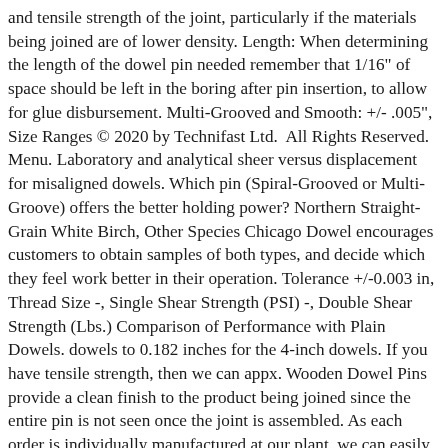and tensile strength of the joint, particularly if the materials being joined are of lower density. Length: When determining the length of the dowel pin needed remember that 1/16" of space should be left in the boring after pin insertion, to allow for glue disbursement. Multi-Grooved and Smooth: +/- .005", Size Ranges © 2020 by Technifast Ltd.  All Rights Reserved. Menu. Laboratory and analytical sheer versus displacement for misaligned dowels. Which pin (Spiral-Grooved or Multi-Groove) offers the better holding power? Northern Straight-Grain White Birch, Other Species Chicago Dowel encourages customers to obtain samples of both types, and decide which they feel work better in their operation. Tolerance +/-0.003 in, Thread Size -, Single Shear Strength (PSI) -, Double Shear Strength (Lbs.) Comparison of Performance with Plain Dowels. dowels to 0.182 inches for the 4-inch dowels. If you have tensile strength, then we can appx. Wooden Dowel Pins provide a clean finish to the product being joined since the entire pin is not seen once the joint is assembled. As each order is individually manufactured at our plant, we can easily accommodate oversize or undersize (scant) diameter requests. The load must not be applied at a rate in excess of